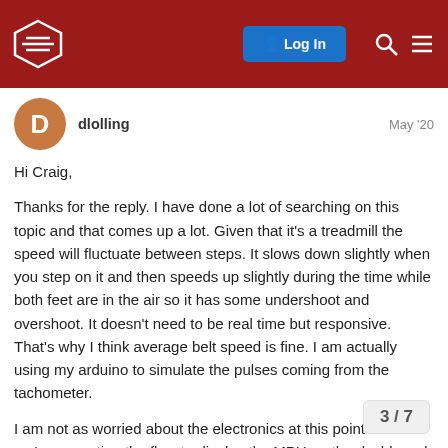Log In [navigation header with logo, search, and menu]
dlolling
May '20
Hi Craig,

Thanks for the reply. I have done a lot of searching on this topic and that comes up a lot. Given that it's a treadmill the speed will fluctuate between steps. It slows down slightly when you step on it and then speeds up slightly during the time while both feet are in the air so it has some undershoot and overshoot. It doesn't need to be real time but responsive. That's why I think average belt speed is fine. I am actually using my arduino to simulate the pulses coming from the tachometer.

I am not as worried about the electronics at this point as much as I am creating the flow to display the MPH on the dashboard. During this initial design phase I am not concerned with the gauge style yet. Just accurately reading from the GPIO and displaying the information. I have been pla... node-RED and have some gauges display...
3 / 7